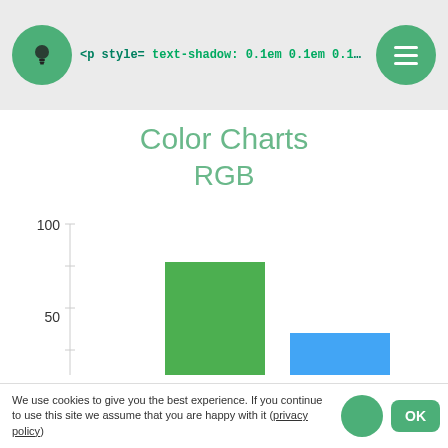<p style= text-shadow: 0.1em 0.1em 0.15em #00d169 >… </p>
Color Charts
RGB
[Figure (bar-chart): Color Charts RGB]
We use cookies to give you the best experience. If you continue to use this site we assume that you are happy with it (privacy policy)